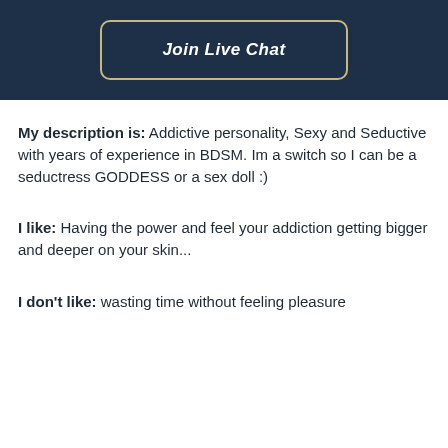[Figure (other): Dark navy header banner with a 'Join Live Chat' button styled with a golden border and white italic bold text]
My description is: Addictive personality, Sexy and Seductive with years of experience in BDSM. Im a switch so I can be a seductress GODDESS or a sex doll :)
I like: Having the power and feel your addiction getting bigger and deeper on your skin...
I don't like: wasting time without feeling pleasure